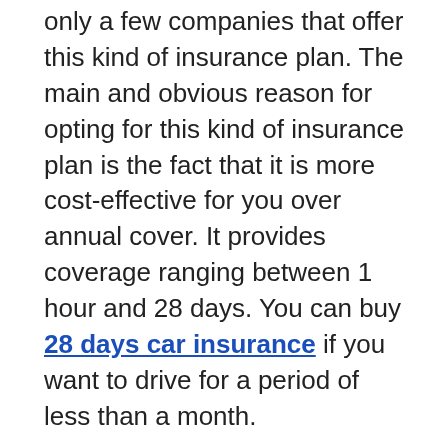only a few companies that offer this kind of insurance plan. The main and obvious reason for opting for this kind of insurance plan is the fact that it is more cost-effective for you over annual cover. It provides coverage ranging between 1 hour and 28 days. You can buy 28 days car insurance if you want to drive for a period of less than a month.
When you opt for such insurance plans make sure that you carry out your research in advance. There are certain companies whose rate for monthly plans are higher than the annual insurance plans. However, even if the payment for a 6 month insurance plan is more per month than yearly cover, you will often still